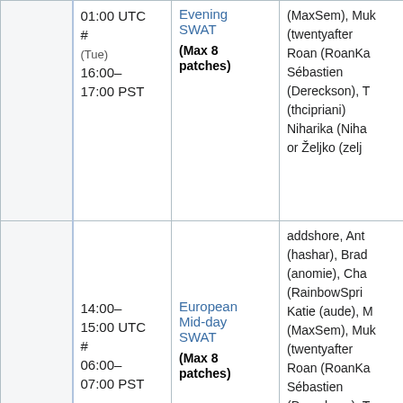|  | Time | Type | Names |
| --- | --- | --- | --- |
|  | 01:00 UTC #
(Tue)
16:00–17:00 PST | Evening SWAT
(Max 8 patches) | (MaxSem), Muk (twentyafter Roan (RoanKa Sébastien (Dereckson), T (thcipriani) Niharika (Niha or Željko (zelj |
|  | 14:00–15:00 UTC #
06:00–07:00 PST | European Mid-day SWAT
(Max 8 patches) | addshore, Ant (hashar), Brad (anomie), Cha (RainbowSpri Katie (aude), M (MaxSem), Muk (twentyafter Roan (RoanKa Sébastien (Dereckson), T (thcipriani) |